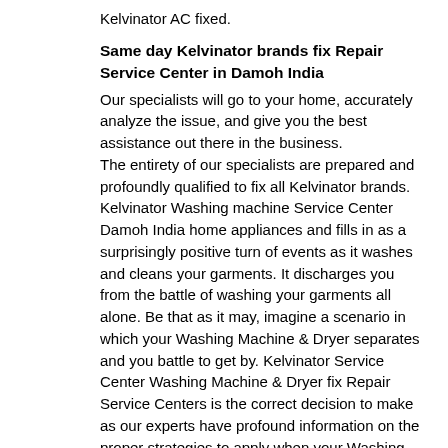Kelvinator AC fixed.
Same day Kelvinator brands fix Repair Service Center in Damoh India
Our specialists will go to your home, accurately analyze the issue, and give you the best assistance out there in the business.
The entirety of our specialists are prepared and profoundly qualified to fix all Kelvinator brands. Kelvinator Washing machine Service Center Damoh India home appliances and fills in as a surprisingly positive turn of events as it washes and cleans your garments. It discharges you from the battle of washing your garments all alone. Be that as it may, imagine a scenario in which your Washing Machine & Dryer separates and you battle to get by. Kelvinator Service Center Washing Machine & Dryer fix Repair Service Centers is the correct decision to make as our experts have profound information on the proper strategies to apply when your Washing Machine & Dryer breakdowns. We are specialists in fixing your Washing Machine & Dryer, regardless of what brand it is.